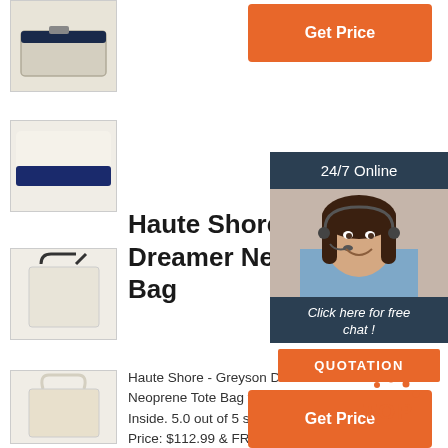[Figure (photo): Thumbnail of a beige zippered pouch/bag]
[Figure (photo): Thumbnail of a cream and navy blue tote bag]
[Figure (photo): Thumbnail of a plain tote bag with dark handles]
[Figure (photo): Thumbnail of a cream tote bag with handles]
[Figure (photo): Thumbnail of a cream tote bag with tan handles]
Get Price
Haute Shore - Greyson Dreamer Neoprene Bag
Haute Shore - Greyson Dreamer Neoprene Tote Bag w/Zipper Inside. 5.0 out of 5 stars. 1 ra... Price: $112.99 & FREE Shipp... 100% durable and stain-resis... neoprene. Comes with clasp tethered wristlet wristlet pouch. Dimensions: 18' wide (side panels expanded) x 12' tall x 10' deep.
[Figure (photo): 24/7 Online chat widget showing a customer service representative with headset, with 'Click here for free chat!' text and QUOTATION button]
Get Price